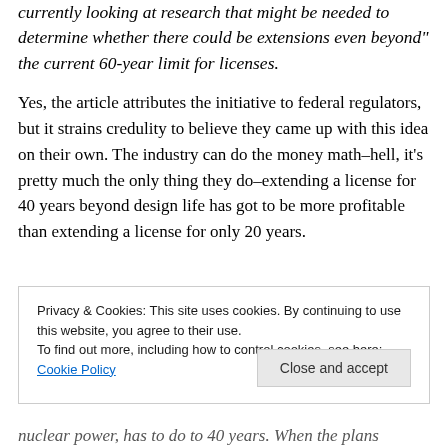currently looking at research that might be needed to determine whether there could be extensions even beyond" the current 60-year limit for licenses.
Yes, the article attributes the initiative to federal regulators, but it strains credulity to believe they came up with this idea on their own. The industry can do the money math–hell, it's pretty much the only thing they do–extending a license for 40 years beyond design life has got to be more profitable than extending a license for only 20 years.
Privacy & Cookies: This site uses cookies. By continuing to use this website, you agree to their use.
To find out more, including how to control cookies, see here: Cookie Policy
Close and accept
nuclear power, has to do 40 years. When the plans